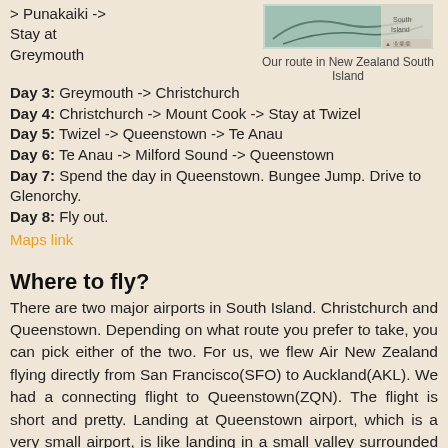> Punakaiki -> Stay at Greymouth
[Figure (photo): Map of New Zealand South Island showing a route]
Our route in New Zealand South Island
Day 3: Greymouth -> Christchurch
Day 4: Christchurch -> Mount Cook -> Stay at Twizel
Day 5: Twizel -> Queenstown -> Te Anau
Day 6: Te Anau -> Milford Sound -> Queenstown
Day 7: Spend the day in Queenstown. Bungee Jump. Drive to Glenorchy.
Day 8: Fly out.
Maps link
Where to fly?
There are two major airports in South Island. Christchurch and Queenstown. Depending on what route you prefer to take, you can pick either of the two. For us, we flew Air New Zealand flying directly from San Francisco(SFO) to Auckland(AKL). We had a connecting flight to Queenstown(ZQN). The flight is short and pretty. Landing at Queenstown airport, which is a very small airport, is like landing in a small valley surrounded by beautiful mountains. Some folks fly in to Christchurch and fly out of Queenstown